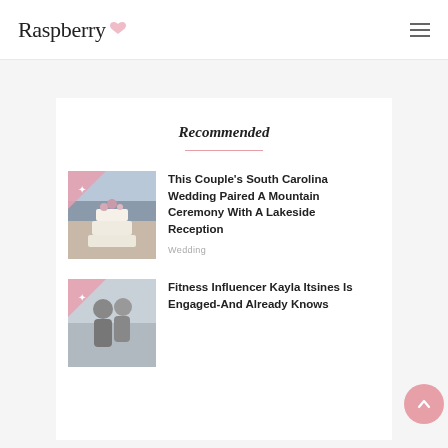Raspberry
Recommended
This Couple's South Carolina Wedding Paired A Mountain Ceremony With A Lakeside Reception
Wedding
Fitness Influencer Kayla Itsines Is Engaged-And Already Knows
[Figure (photo): Thumbnail photo of a wedding cake with flowers]
[Figure (photo): Thumbnail photo of a couple, fitness related]